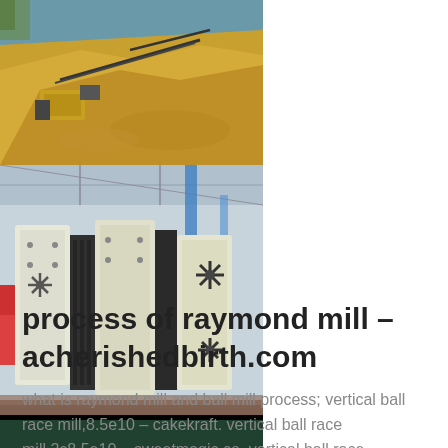[Figure (photo): Aerial view of an open-pit mining or quarry site with yellow sandy terrain, conveyor belts, and heavy equipment near a body of water.]
[Figure (photo): Industrial interior showing large cream/beige and black vibrating screen or mining machinery equipment arranged in a warehouse or factory floor.]
process of raymond mill - acherishedbirth.com
what is raymond mill and ball mill process; vertical ball race mill,8.5e10 - cakekraft. vertical ball race mill,2c8.5e10 - sweetmagic.co. vertical ball race